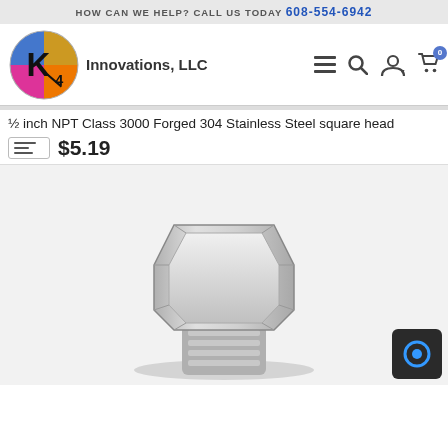HOW CAN WE HELP? CALL US TODAY 608-554-6942
[Figure (logo): K4 Innovations LLC logo — circular logo divided into four colored quadrants (blue, gold, pink, orange) with a large K and subscript 4 in the center]
½ inch NPT Class 3000 Forged 304 Stainless Steel square head
$5.19
[Figure (photo): Product photo showing a ½ inch NPT Class 3000 Forged 304 Stainless Steel square head plug fitting — polished stainless steel with an octagonal top surface and threaded base, shown from a top-angled perspective on a white/light grey background]